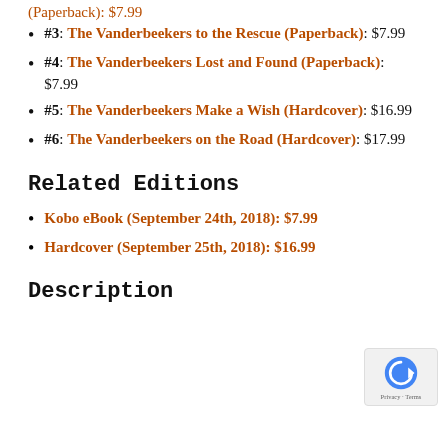#3: The Vanderbeekers to the Rescue (Paperback): $7.99
#4: The Vanderbeekers Lost and Found (Paperback): $7.99
#5: The Vanderbeekers Make a Wish (Hardcover): $16.99
#6: The Vanderbeekers on the Road (Hardcover): $17.99
Related Editions
Kobo eBook (September 24th, 2018): $7.99
Hardcover (September 25th, 2018): $16.99
Description